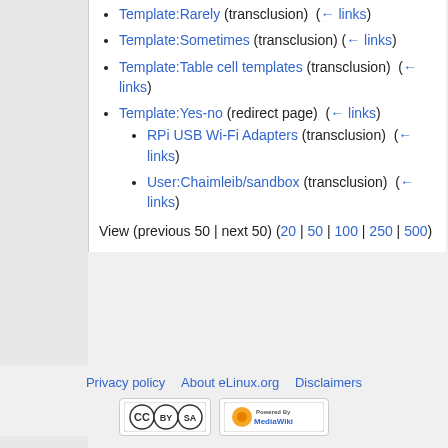Template:Rarely (transclusion) (← links)
Template:Sometimes (transclusion) (← links)
Template:Table cell templates (transclusion) (← links)
Template:Yes-no (redirect page) (← links)
RPi USB Wi-Fi Adapters (transclusion) (← links)
User:Chaimleib/sandbox (transclusion) (← links)
View (previous 50 | next 50) (20 | 50 | 100 | 250 | 500)
Privacy policy   About eLinux.org   Disclaimers